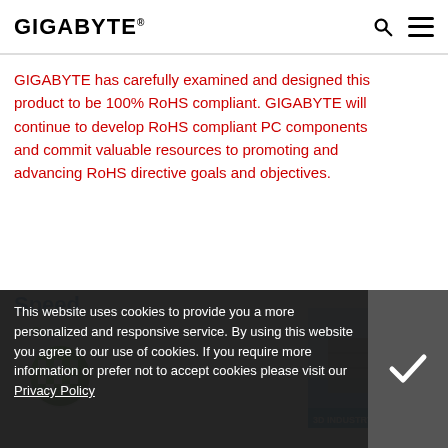GIGABYTE
GIGABYTE has carefully examined and designed this product to be 100% RoHS compliant. GIGABYTE will continue to develop RoHS compliant PC components and commit valuable resources to promoting and advancing RoHS directive goals and objectives.
Speed
[Figure (illustration): Speed icon: green circle with checkered flag pattern, labeled 'Speed' in green italic text above it]
[Figure (illustration): Partial 3D industry illustration showing a futuristic industrial scene with '3D INDUSTRY >' label bar at bottom]
This website uses cookies to provide you a more personalized and responsive service. By using this website you agree to our use of cookies. If you require more information or prefer not to accept cookies please visit our Privacy Policy